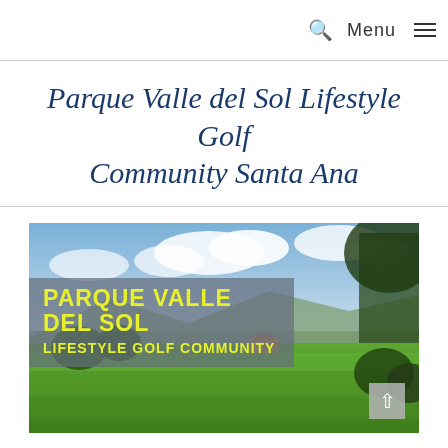🔍 Menu ≡
Parque Valle del Sol Lifestyle Golf Community Santa Ana
[Figure (photo): Aerial/landscape photo of Parque Valle del Sol golf community with lush green fairways, trees, mountains in background, partly cloudy sky. Overlay banner reads: PARQUE VALLE DEL SOL LIFESTYLE GOLF COMMUNITY in yellow bold text on a semi-transparent grey background.]